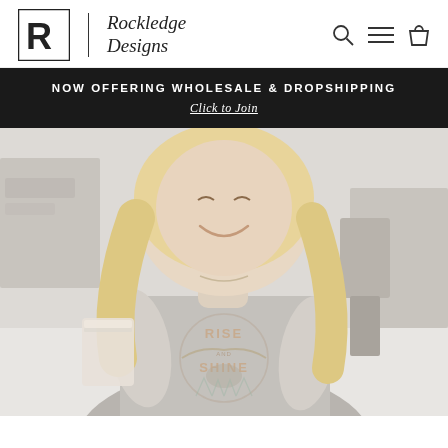[Figure (logo): Rockledge Designs logo with R icon and script text]
NOW OFFERING WHOLESALE & DROPSHIPPING
Click to Join
[Figure (photo): Blonde woman smiling, wearing a grey graphic tee that reads RISE AND SHINE with an eagle and nature motif, holding a cup]